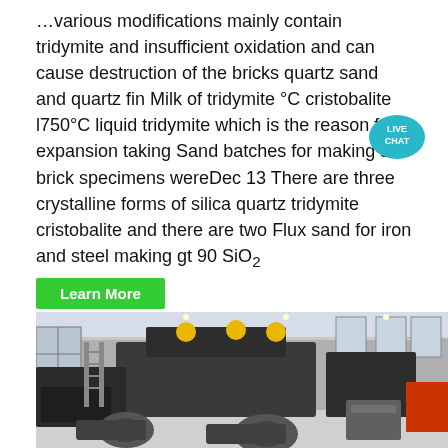…various modifications mainly contain tridymite and insufficient oxidation and can cause destruction of the bricks quartz sand and quartz fin Milk of tridymite °C cristobalite l750°C liquid tridymite which is the reason f the expansion taking Sand batches for making silica brick specimens wereDec 13 There are three crystalline forms of silica quartz tridymite cristobalite and there are two Flux sand for iron and steel making gt 90 SiO2
[Figure (other): Live Chat bubble icon in teal/cyan color with text LIVE CHAT]
Learn More
[Figure (photo): Industrial factory interior with large heavy machinery (crusher/mill equipment) in dark grey color, electric motors visible in foreground, large industrial building with skylights and windows in background]